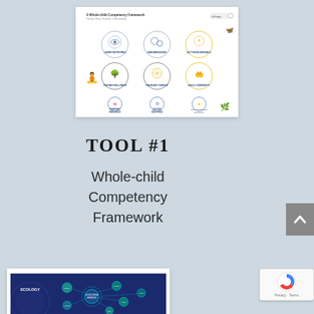[Figure (infographic): A Whole-child Competency Framework infographic by reDesign showing 9 circular icons arranged in a 3x3 grid, each with an icon and label. Labels include: Learn Networks, Imagine/Design, Act Knowledgeably, Sustain Wellness, Navigate Change, Build Community, Emerging Resilience, Solving Solutions, Help Leveraging Networks. Background has decorative images of a child and nature.]
TOOL #1
Whole-child Competency Framework
[Figure (infographic): Ecology-themed diagram with dark blue background showing circular network diagram with 'ECOLOGY' text and bubble nodes connected by lines, teal/cyan colored circles.]